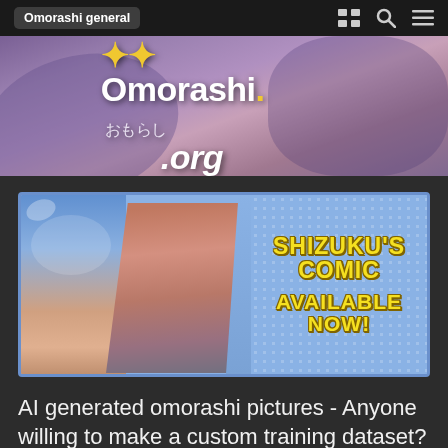Omorashi general
[Figure (illustration): Omorashi.org website banner with anime-style characters and site logo text 'Omorashi おもらし .org']
[Figure (illustration): Comic advertisement banner: 'SHIZUKU'S COMIC AVAILABLE NOW!' with anime characters on left side]
AI generated omorashi pictures - Anyone willing to make a custom training dataset?